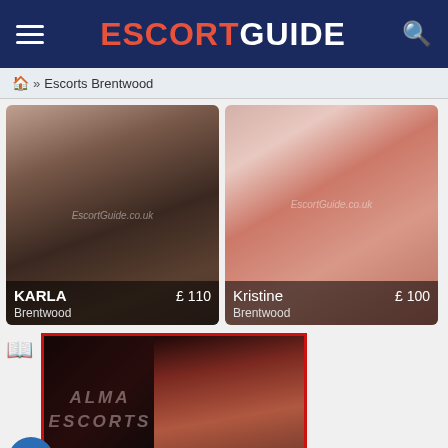ESCORTGUIDE
» Escorts Brentwood
[Figure (photo): Profile photo card for KARLA, Brentwood, £110]
[Figure (photo): Profile photo card for Kristine, Brentwood, £100]
[Figure (photo): Advertisement banner for ALMA ESCORTS with red border]